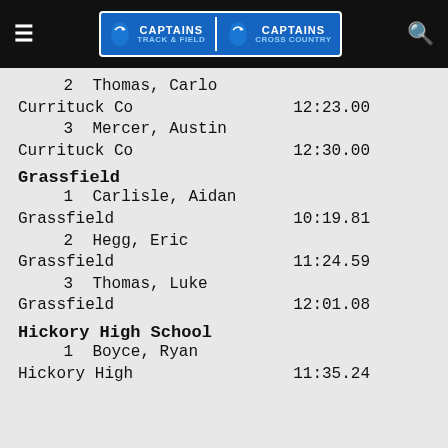Captains Track & Field / Captains Cross Country
2  Thomas, Carlo
Currituck Co    12:23.00
3  Mercer, Austin
Currituck Co    12:30.00
Grassfield
1  Carlisle, Aidan
Grassfield      10:19.81
2  Hegg, Eric
Grassfield      11:24.59
3  Thomas, Luke
Grassfield      12:01.08
Hickory High School
1  Boyce, Ryan
Hickory High    11:35.24